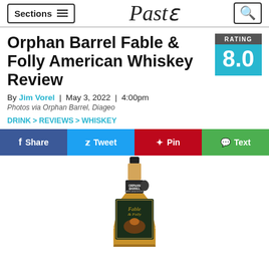Sections  [hamburger icon]   Paste   [search icon]
Orphan Barrel Fable & Folly American Whiskey Review
RATING 8.0
By Jim Vorel  |  May 3, 2022  |  4:00pm
Photos via Orphan Barrel, Diageo
DRINK > REVIEWS > WHISKEY
Share  Tweet  Pin  Text
[Figure (photo): A bottle of Orphan Barrel Fable & Folly American Whiskey, showing the label with illustrated artwork]